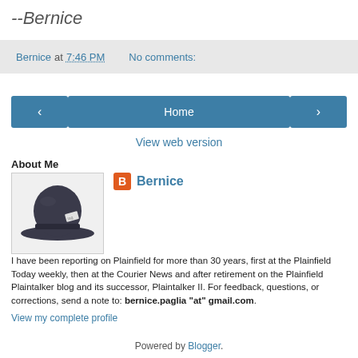--Bernice
Bernice at 7:46 PM   No comments:
‹   Home   ›
View web version
About Me
[Figure (photo): Profile photo of a dark hat (fedora style) with a small tag, shown from the front, white background]
Bernice
I have been reporting on Plainfield for more than 30 years, first at the Plainfield Today weekly, then at the Courier News and after retirement on the Plainfield Plaintalker blog and its successor, Plaintalker II. For feedback, questions, or corrections, send a note to: bernice.paglia "at" gmail.com.
View my complete profile
Powered by Blogger.